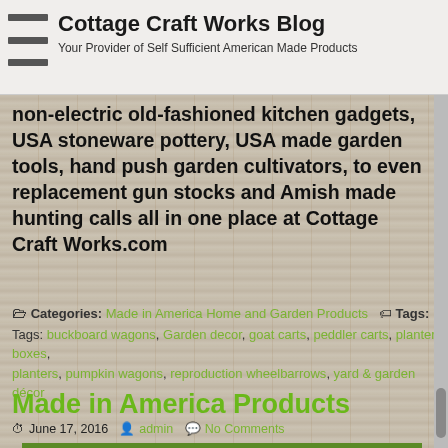Cottage Craft Works Blog
Your Provider of Self Sufficient American Made Products
non-electric old-fashioned kitchen gadgets, USA stoneware pottery, USA made garden tools, hand push garden cultivators, to even replacement gun stocks and Amish made hunting calls all in one place at Cottage Craft Works.com
Categories: Made in America Home and Garden Products  Tags: Tags: buckboard wagons, Garden decor, goat carts, peddler carts, planter boxes, planters, pumpkin wagons, reproduction wheelbarrows, yard & garden décor
Made in America Products
June 17, 2016   admin   No Comments
[Figure (photo): Green background image with yellow and dark logo/icon visible at bottom of page]